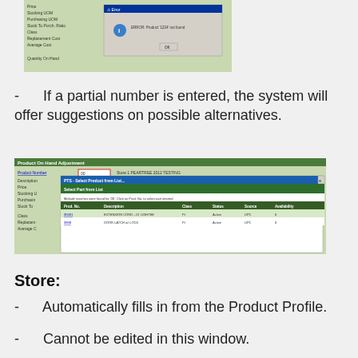[Figure (screenshot): Screenshot of a product lookup form showing an error dialog: 'ERROR: Product 1234 not found' with an OK button. Background shows a form with fields: Price, Stocking UOM, Purchasing UOM, Stock To Purch. Ratio, Class, Replacement Cost, Average Cost, Quantity On Hand.]
- If a partial number is entered, the system will offer suggestions on possible alternatives.
[Figure (screenshot): Screenshot of 'Product On Hand Adjustment' form with Product Number field showing '00' and Store 1 PEARTREE 2012 TESTING. A dialog 'PTS - Select Product from List' is shown with sub-header 'Select Part from List'. Message: 'Multiple matches were found for 00. Click on Prod. No. to select part desired'. Table columns: Prod. No., Description, Class, Status, Source, Availability. Rows: 35001 EXTENSION CORD - 25' LIGHTEE Pt Active UPC 0; 3398 DOOR LATCH w/ LOCK Pt Active UPC 0.]
Store:
- Automatically fills in from the Product Profile.
- Cannot be edited in this window.